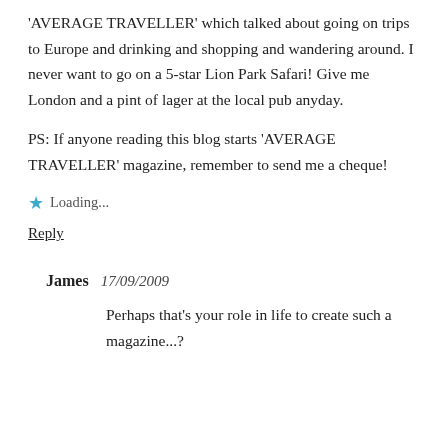'AVERAGE TRAVELLER' which talked about going on trips to Europe and drinking and shopping and wandering around. I never want to go on a 5-star Lion Park Safari! Give me London and a pint of lager at the local pub anyday.
PS: If anyone reading this blog starts 'AVERAGE TRAVELLER' magazine, remember to send me a cheque!
Loading...
Reply
James  17/09/2009
Perhaps that's your role in life to create such a magazine...?